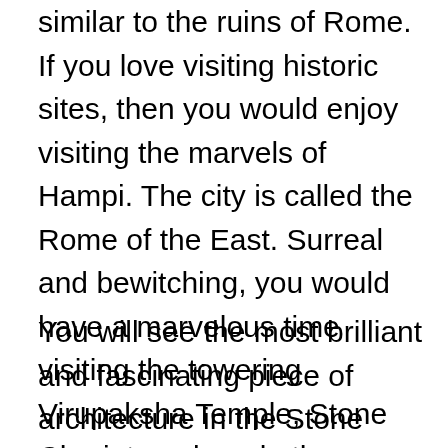similar to the ruins of Rome. If you love visiting historic sites, then you would enjoy visiting the marvels of Hampi. The city is called the Rome of the East. Surreal and bewitching, you would have a marvelous time visiting the towering Virupaksha Temple, Stone Chariot peak and other wonders of the Vijayanagar empire.
You will see the most brilliant and fascinating piece of architecture in the Stone Chariot, a stable made exclusively for elephants and more.
[Figure (photo): Partial view of a historic stone temple or building against a bright blue sky, with architectural stonework visible on the left side of the image.]